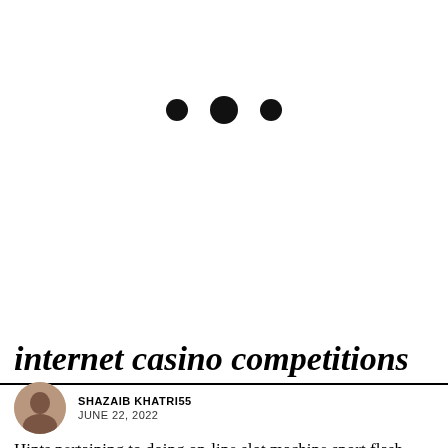[Figure (other): Three dots / ellipsis loading indicator: two smaller dots flanking one larger central dot]
internet casino competitions
SHAZAIB KHATRI55
JUNE 22, 2022
Hints pertaining to doing on-line slot machine sport flash games and also strategies to getting a whole new jackpot? Many of us would like to take into